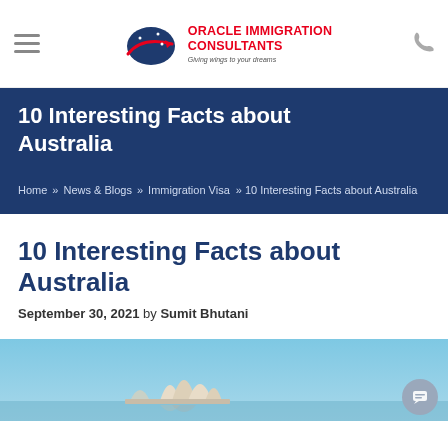Oracle Immigration Consultants — Giving wings to your dreams
10 Interesting Facts about Australia
Home » News & Blogs » Immigration Visa » 10 Interesting Facts about Australia
10 Interesting Facts about Australia
September 30, 2021 by Sumit Bhutani
[Figure (photo): Aerial or wide-angle photo of Sydney Opera House against blue sky]